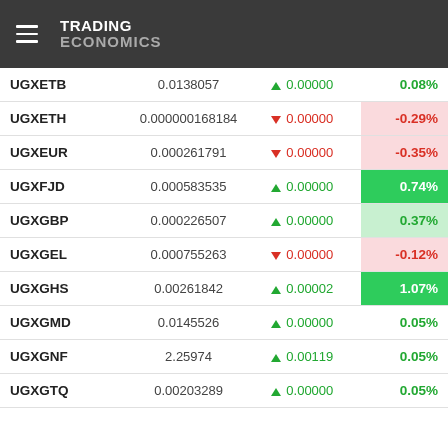TRADING ECONOMICS
| Symbol | Value | Change | Change% |
| --- | --- | --- | --- |
| UGXETB | 0.0138057 | ▲ 0.00000 | 0.08% |
| UGXETH | 0.000000168184 | ▼ 0.00000 | -0.29% |
| UGXEUR | 0.000261791 | ▼ 0.00000 | -0.35% |
| UGXFJD | 0.000583535 | ▲ 0.00000 | 0.74% |
| UGXGBP | 0.000226507 | ▲ 0.00000 | 0.37% |
| UGXGEL | 0.000755263 | ▼ 0.00000 | -0.12% |
| UGXGHS | 0.00261842 | ▲ 0.00002 | 1.07% |
| UGXGMD | 0.0145526 | ▲ 0.00000 | 0.05% |
| UGXGNF | 2.25974 | ▲ 0.00119 | 0.05% |
| UGXGTQ | 0.00203289 | ▲ 0.00000 | 0.05% |